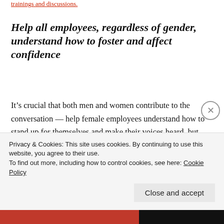trainings and discussions.
Help all employees, regardless of gender, understand how to foster and affect confidence
It’s crucial that both men and women contribute to the conversation — help female employees understand how to stand up for themselves and make their voices heard, but also coach male employees to understand not only how they can support their female peers but also the benefit of doing so.
Privacy & Cookies: This site uses cookies. By continuing to use this website, you agree to their use.
To find out more, including how to control cookies, see here: Cookie Policy
Close and accept